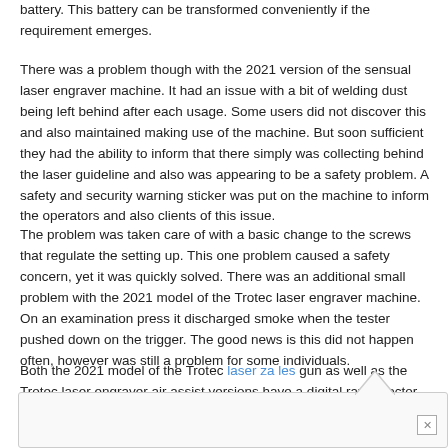battery. This battery can be transformed conveniently if the requirement emerges.
There was a problem though with the 2021 version of the sensual laser engraver machine. It had an issue with a bit of welding dust being left behind after each usage. Some users did not discover this and also maintained making use of the machine. But soon sufficient they had the ability to inform that there simply was collecting behind the laser guideline and also was appearing to be a safety problem. A safety and security warning sticker was put on the machine to inform the operators and also clients of this issue.
The problem was taken care of with a basic change to the screws that regulate the setting up. This one problem caused a safety concern, yet it was quickly solved. There was an additional small problem with the 2021 model of the Trotec laser engraver machine. On an examination press it discharged smoke when the tester pushed down on the trigger. The good news is this did not happen often, however was still a problem for some individuals.
Both the 2021 model of the Trotec laser za les gun as well as the Trotec laser engraver air assist versions have a digital ray detector mounted. The Trotec laser weapon has a built-in circuit to discover when the air trigger button has actually been pressed. If the laser